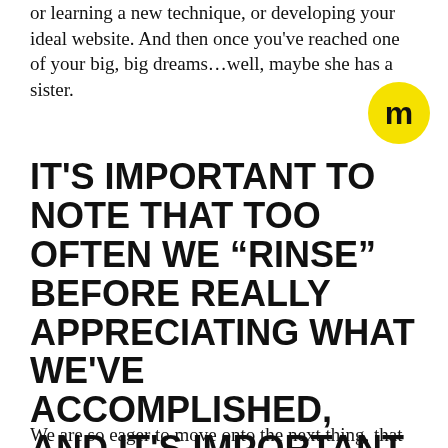or learning a new technique, or developing your ideal website. And then once you've reached one of your big, big dreams…well, maybe she has a sister.
[Figure (logo): Yellow circle with black letter M logo]
IT'S IMPORTANT TO NOTE THAT TOO OFTEN WE “RINSE” BEFORE REALLY APPRECIATING WHAT WE'VE ACCOMPLISHED, AND IT'S IMPORTANT TO VALIDATE HOW FAR WE'VE COME.
We are so eager to move onto the next thing, that